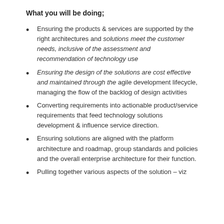What you will be doing;
Ensuring the products & services are supported by the right architectures and solutions meet the customer needs, inclusive of the assessment and recommendation of technology use
Ensuring the design of the solutions are cost effective and maintained through the agile development lifecycle, managing the flow of the backlog of design activities
Converting requirements into actionable product/service requirements that feed technology solutions development & influence service direction.
Ensuring solutions are aligned with the platform architecture and roadmap, group standards and policies and the overall enterprise architecture for their function.
Pulling together various aspects of the solution – viz